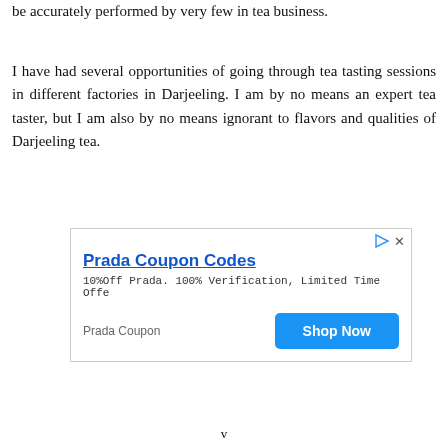be accurately performed by very few in tea business.
I have had several opportunities of going through tea tasting sessions in different factories in Darjeeling. I am by no means an expert tea taster, but I am also by no means ignorant to flavors and qualities of Darjeeling tea.
[Figure (screenshot): Advertisement banner for Prada Coupon Codes. Shows title 'Prada Coupon Codes', subtitle '10%Off Prada. 100% Verification, Limited Time Offe', brand label 'Prada Coupon', and a blue 'Shop Now' button.]
v